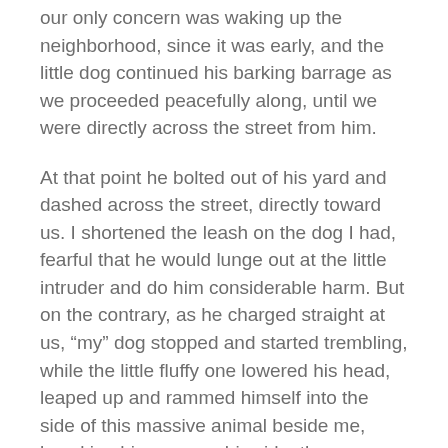our only concern was waking up the neighborhood, since it was early, and the little dog continued his barking barrage as we proceeded peacefully along, until we were directly across the street from him.
At that point he bolted out of his yard and dashed across the street, directly toward us. I shortened the leash on the dog I had, fearful that he would lunge out at the little intruder and do him considerable harm. But on the contrary, as he charged straight at us, “my” dog stopped and started trembling, while the little fluffy one lowered his head, leaped up and rammed himself into the side of this massive animal beside me, knocking him over on his side, then standing over him in a threatening manner while continuing to yap victoriously over my trembling animal,